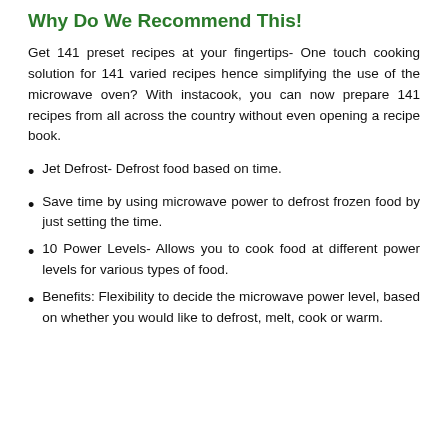Why Do We Recommend This!
Get 141 preset recipes at your fingertips- One touch cooking solution for 141 varied recipes hence simplifying the use of the microwave oven? With instacook, you can now prepare 141 recipes from all across the country without even opening a recipe book.
Jet Defrost- Defrost food based on time.
Save time by using microwave power to defrost frozen food by just setting the time.
10 Power Levels- Allows you to cook food at different power levels for various types of food.
Benefits: Flexibility to decide the microwave power level, based on whether you would like to defrost, melt, cook or warm.